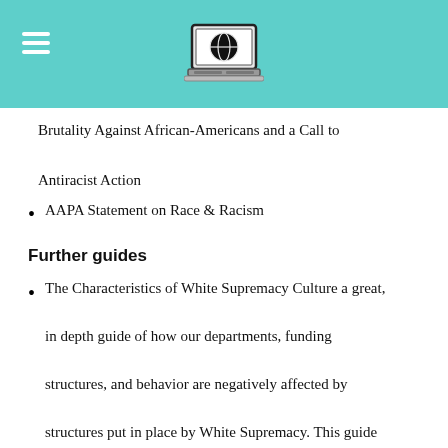[Logo: laptop with globe icon, hamburger menu]
Brutality Against African-Americans and a Call to Antiracist Action
AAPA Statement on Race & Racism
Further guides
The Characteristics of White Supremacy Culture a great, in depth guide of how our departments, funding structures, and behavior are negatively affected by structures put in place by White Supremacy. This guide also has actionable items on how we can stop these structures from harming our organizations.
A Framework for Action in Response to Moments of Outrage & Crisis
[continues below]